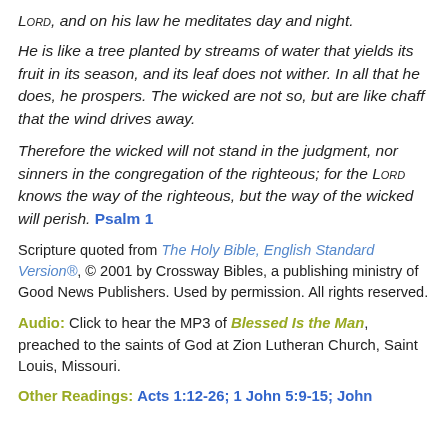LORD, and on his law he meditates day and night.
He is like a tree planted by streams of water that yields its fruit in its season, and its leaf does not wither. In all that he does, he prospers. The wicked are not so, but are like chaff that the wind drives away.
Therefore the wicked will not stand in the judgment, nor sinners in the congregation of the righteous; for the LORD knows the way of the righteous, but the way of the wicked will perish. Psalm 1
Scripture quoted from The Holy Bible, English Standard Version®, © 2001 by Crossway Bibles, a publishing ministry of Good News Publishers. Used by permission. All rights reserved.
Audio: Click to hear the MP3 of Blessed Is the Man, preached to the saints of God at Zion Lutheran Church, Saint Louis, Missouri.
Other Readings: Acts 1:12-26; 1 John 5:9-15; John